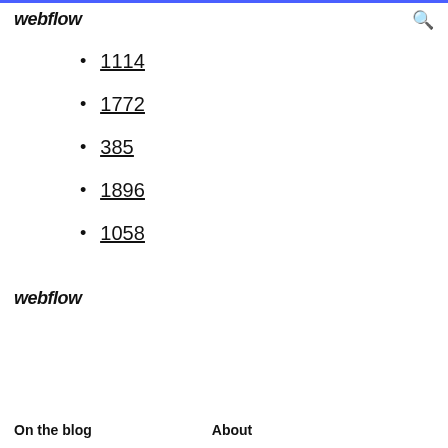webflow
1114
1772
385
1896
1058
webflow
On the blog  About